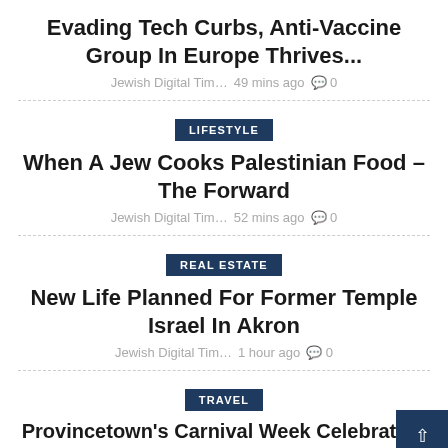Evading Tech Curbs, Anti-Vaccine Group In Europe Thrives...
Jewish Digital Tim…   49 mins ago   🗨 0
LIFESTYLE
When A Jew Cooks Palestinian Food – The Forward
Jewish Digital Tim…   52 mins ago   🗨 0
REAL ESTATE
New Life Planned For Former Temple Israel In Akron
Jewish Digital Tim…   1 hour ago   🗨 0
TRAVEL
Provincetown's Carnival Week Celebration...